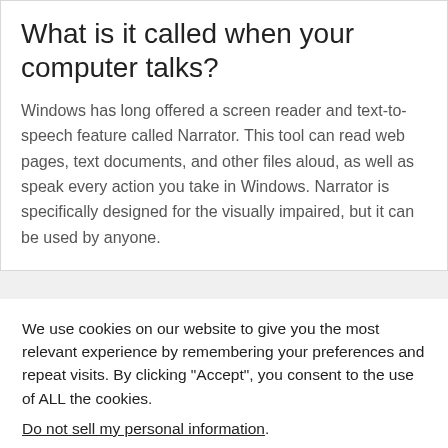What is it called when your computer talks?
Windows has long offered a screen reader and text-to-speech feature called Narrator. This tool can read web pages, text documents, and other files aloud, as well as speak every action you take in Windows. Narrator is specifically designed for the visually impaired, but it can be used by anyone.
We use cookies on our website to give you the most relevant experience by remembering your preferences and repeat visits. By clicking “Accept”, you consent to the use of ALL the cookies.
Do not sell my personal information.
Cookie Settings | Accept